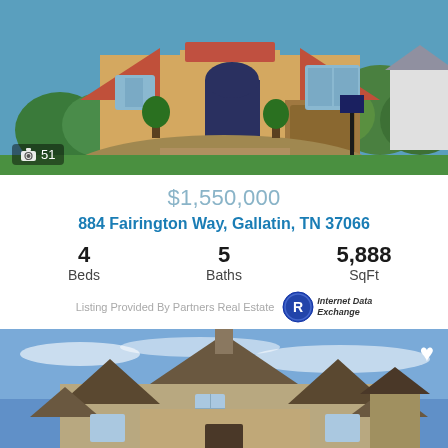[Figure (photo): Exterior photo of a Mediterranean-style stucco home with red tile roof, arched entryway, manicured topiary, and circular driveway. Photo count badge showing camera icon and 51.]
51
$1,550,000
884 Fairington Way, Gallatin, TN 37066
4 Beds   5 Baths   5,888 SqFt
Listing Provided By Partners Real Estate
[Figure (photo): Exterior photo of a large craftsman-style brick home with dramatic triangular rooflines against a blue sky with wispy clouds. Heart/favorite icon in top-right corner.]